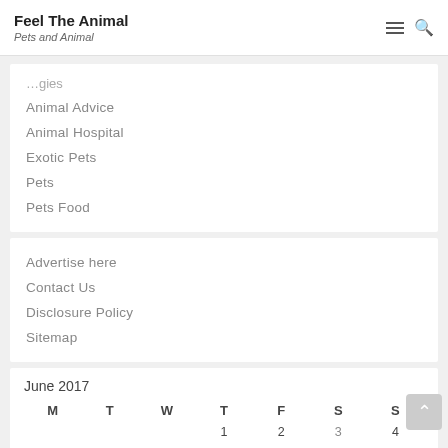Feel The Animal — Pets and Animal
Animal Advice
Animal Hospital
Exotic Pets
Pets
Pets Food
Advertise here
Contact Us
Disclosure Policy
Sitemap
| M | T | W | T | F | S | S |
| --- | --- | --- | --- | --- | --- | --- |
|  |  |  | 1 | 2 | 3 | 4 |
| 5 | 6 | 7 | 8 | 9 | 10 | 11 |
| 12 | 13 | 14 | 15 | 16 | 17 | 18 |
| 19 | 20 | 21 | 22 | 23 | 24 | 25 |